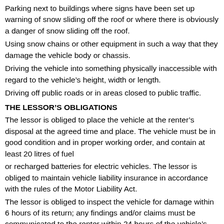Parking next to buildings where signs have been set up warning of snow sliding off the roof or where there is obviously a danger of snow sliding off the roof.
Using snow chains or other equipment in such a way that they damage the vehicle body or chassis.
Driving the vehicle into something physically inaccessible with regard to the vehicle's height, width or length.
Driving off public roads or in areas closed to public traffic.
THE LESSOR'S OBLIGATIONS
The lessor is obliged to place the vehicle at the renter's disposal at the agreed time and place. The vehicle must be in good condition and in proper working order, and contain at least 20 litres of fuel
or recharged batteries for electric vehicles. The lessor is obliged to maintain vehicle liability insurance in accordance with the rules of the Motor Liability Act.
The lessor is obliged to inspect the vehicle for damage within 6 hours of its return; any findings and/or claims must be communicated to the renter within 24 hours of the vehicle's